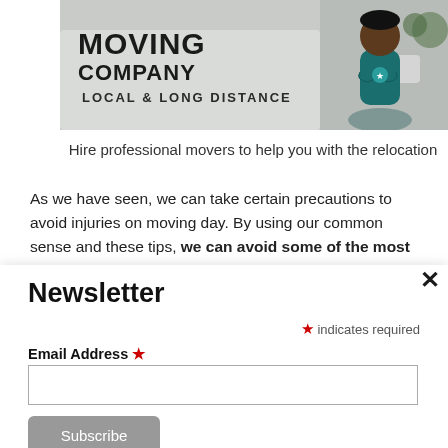[Figure (photo): A moving company van with text 'MOVING COMPANY LOCAL & LONG DISTANCE' and a man with crossed arms standing in front, smiling, wearing a teal shirt with a logo.]
Hire professional movers to help you with the relocation
As we have seen, we can take certain precautions to avoid injuries on moving day. By using our common sense and these tips, we can avoid some of the most serious
Newsletter
* indicates required
Email Address *